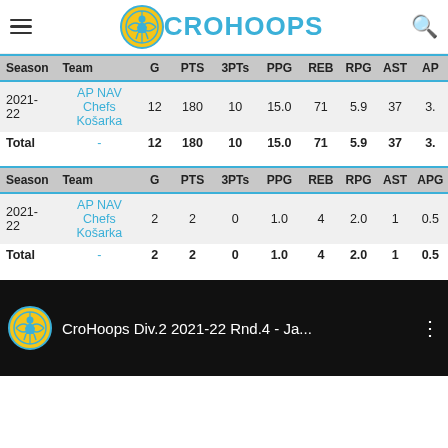CroHoops
| Season | Team | G | PTS | 3PTs | PPG | REB | RPG | AST | AP |
| --- | --- | --- | --- | --- | --- | --- | --- | --- | --- |
| 2021-22 | AP NAV Chefs Košarka | 12 | 180 | 10 | 15.0 | 71 | 5.9 | 37 | 3. |
| Total | - | 12 | 180 | 10 | 15.0 | 71 | 5.9 | 37 | 3. |
| Season | Team | G | PTS | 3PTs | PPG | REB | RPG | AST | APG |
| --- | --- | --- | --- | --- | --- | --- | --- | --- | --- |
| 2021-22 | AP NAV Chefs Košarka | 2 | 2 | 0 | 1.0 | 4 | 2.0 | 1 | 0.5 |
| Total | - | 2 | 2 | 0 | 1.0 | 4 | 2.0 | 1 | 0.5 |
[Figure (screenshot): CroHoops video thumbnail: 'CroHoops Div.2 2021-22 Rnd.4 - Ja...' with CroHoops logo and three-dot menu icon on dark background]